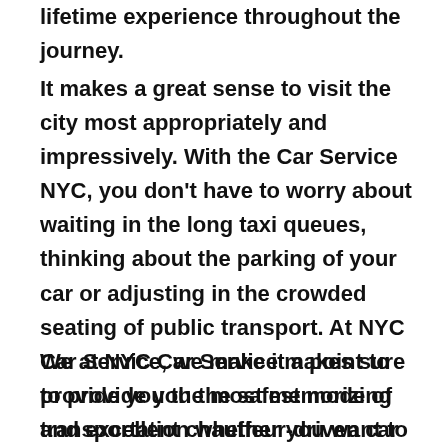lifetime experience throughout the journey.
It makes a great sense to visit the city most appropriately and impressively. With the Car Service NYC, you don't have to worry about waiting in the long taxi queues, thinking about the parking of your car or adjusting in the crowded seating of public transport. At NYC Car Service, we make it a point to provide you the most memorizing and excellent chauffeur-driven car service and provide you the VIP treatment throughout the journey.
We at NYC Car Service makes sure to provide you the safest mode of transportation whether you want to take a leisure ride in Cold Spring Harbor, NY, or wish to travel through New York City, Manhattan and